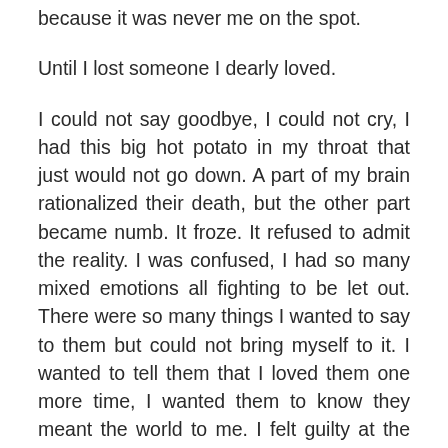because it was never me on the spot.
Until I lost someone I dearly loved.
I could not say goodbye, I could not cry, I had this big hot potato in my throat that just would not go down. A part of my brain rationalized their death, but the other part became numb. It froze. It refused to admit the reality. I was confused, I had so many mixed emotions all fighting to be let out. There were so many things I wanted to say to them but could not bring myself to it. I wanted to tell them that I loved them one more time, I wanted them to know they meant the world to me. I felt guilty at the promise I had made,